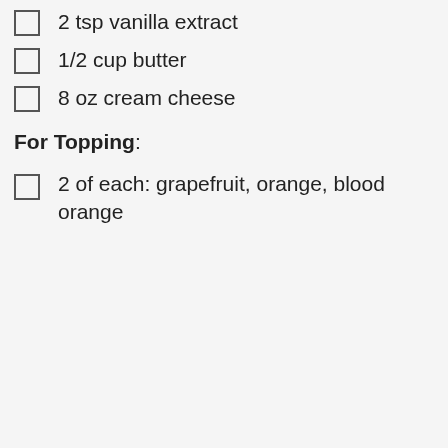2 tsp vanilla extract
1/2 cup butter
8 oz cream cheese
For Topping:
2 of each: grapefruit, orange, blood orange